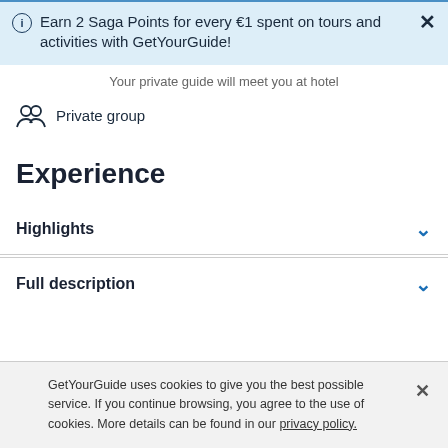Earn 2 Saga Points for every €1 spent on tours and activities with GetYourGuide!
Your private guide will meet you at hotel
Private group
Experience
Highlights
Full description
GetYourGuide uses cookies to give you the best possible service. If you continue browsing, you agree to the use of cookies. More details can be found in our privacy policy.